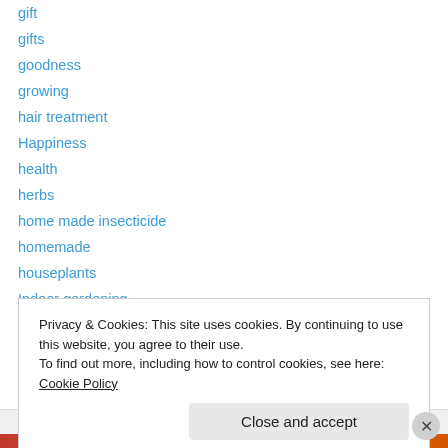gift
gifts
goodness
growing
hair treatment
Happiness
health
herbs
home made insecticide
homemade
houseplants
Indoor gardening
insecticide
Privacy & Cookies: This site uses cookies. By continuing to use this website, you agree to their use.
To find out more, including how to control cookies, see here: Cookie Policy
Close and accept
Advertisements